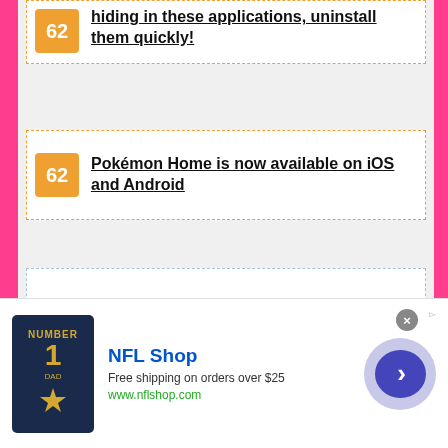62 [partial top] ...hiding in these applications, uninstall them quickly!
62 Pokémon Home is now available on iOS and Android
63 Teamfight Tactics, Riot Games' first mobile title, is now available in closed beta on iOS and Android
Reason 219 to stay on iOS: an ...
[Figure (screenshot): NFL Shop advertisement banner with navy jersey graphic, brand name, free shipping offer, and arrow button]